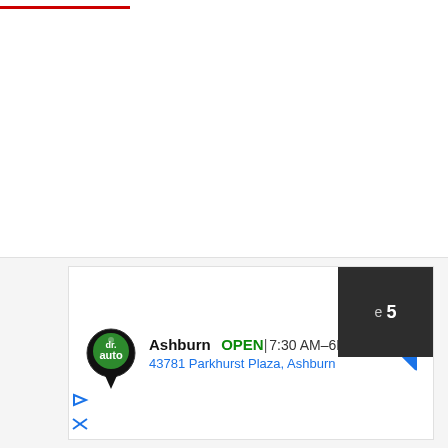[Figure (screenshot): Red horizontal line at top left of page, partial page header element]
[Figure (screenshot): Close/dismiss button (X) on right side of page, white box with X symbol]
[Figure (screenshot): Advertisement banner at bottom: Ashburn auto shop, OPEN 7:30AM-6PM, 43781 Parkhurst Plaza Ashburn, with logo, navigation arrow icon, and dark overlay box with number 5]